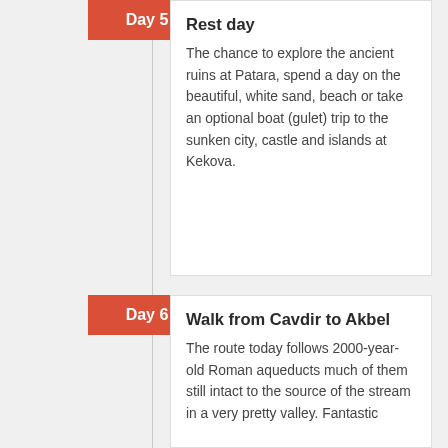Day 5
Rest day
The chance to explore the ancient ruins at Patara, spend a day on the beautiful, white sand, beach or take an optional boat (gulet) trip to the sunken city, castle and islands at Kekova.
Day 6
Walk from Cavdir to Akbel
The route today follows 2000-year-old Roman aqueducts much of them still intact to the source of the stream in a very pretty valley. Fantastic